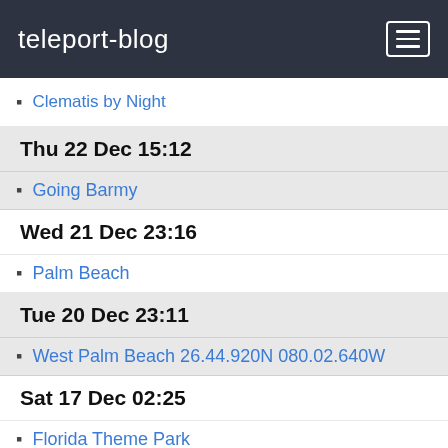teleport-blog
Clematis by Night
Thu 22 Dec 15:12
Going Barmy
Wed 21 Dec 23:16
Palm Beach
Tue 20 Dec 23:11
West Palm Beach 26.44.920N 080.02.640W
Sat 17 Dec 02:25
Florida Theme Park
Thu 15 Dec 16:05
Kennedy Space Center
Mon 12 Dec 13:57
Cape Canaveral 28.24.530N 80.37.810W
Sat 10 Dec 02:07
Fernandina Beach 2
Fernandina Beach 1